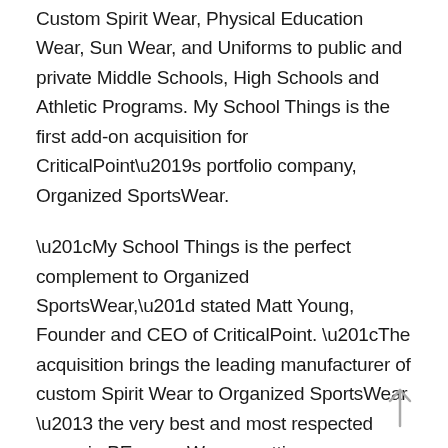Custom Spirit Wear, Physical Education Wear, Sun Wear, and Uniforms to public and private Middle Schools, High Schools and Athletic Programs. My School Things is the first add-on acquisition for CriticalPoint’s portfolio company, Organized SportsWear.
“My School Things is the perfect complement to Organized SportsWear,” stated Matt Young, Founder and CEO of CriticalPoint. “The acquisition brings the leading manufacturer of custom Spirit Wear to Organized SportsWear – the very best and most respected name in PE wear. We are setting a new industry standard for customer service, trend-setting artwork, high quality products, and unprecedented value for our customers.”